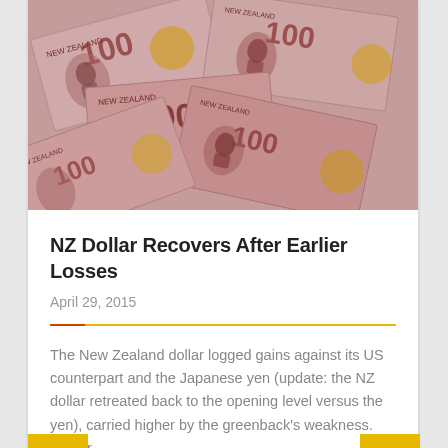[Figure (photo): Pile of New Zealand $100 banknotes showing portraits and denomination numbers]
NZ Dollar Recovers After Earlier Losses
April 29, 2015
The New Zealand dollar logged gains against its US counterpart and the Japanese yen (update: the NZ dollar retreated back to the opening level versus the yen), carried higher by the greenback's weakness. Earlier,...
READ MORE